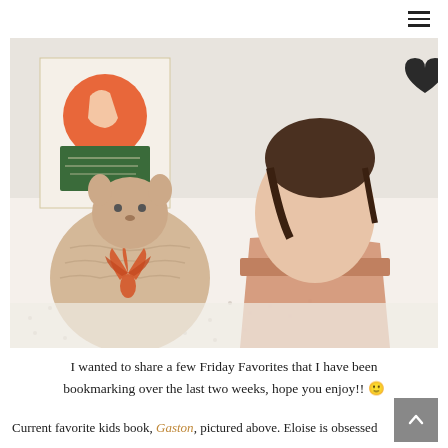≡ (hamburger menu icon)
[Figure (photo): A child sitting on a white dotted blanket viewed from behind, wearing a pink open-back romper with cross straps. To the left is a large knitted stuffed animal (rabbit/bear) with an orange emblem. Behind is a book with an orange circle illustration and text. The scene has a soft, warm aesthetic.]
I wanted to share a few Friday Favorites that I have been bookmarking over the last two weeks, hope you enjoy!! 🙂
Current favorite kids book, Gaston, pictured above. Eloise is obsessed